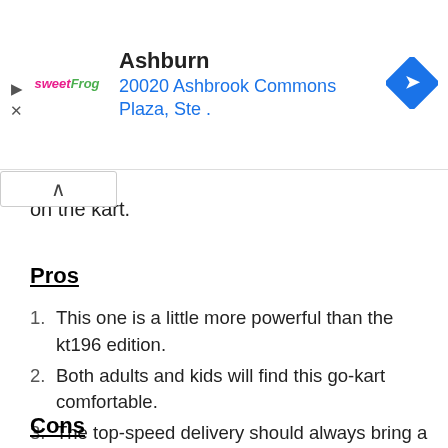[Figure (other): Advertisement banner for sweetFrog frozen yogurt in Ashburn at 20020 Ashbrook Commons Plaza, Ste. with navigation arrow icon and playback/close controls]
on the kart.
Pros
This one is a little more powerful than the kt196 edition.
Both adults and kids will find this go-kart comfortable.
The top-speed delivery should always bring a smile to your face.
Cons